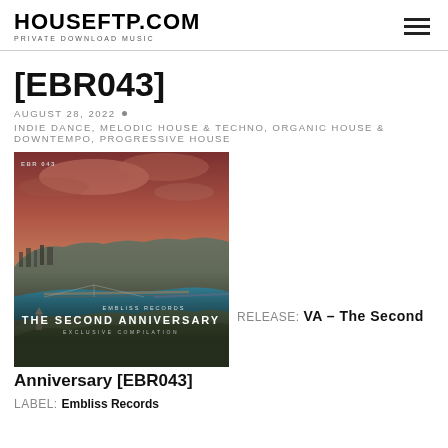HOUSEFTP.COM — PRIVATE DOWNLOAD MUSIC
[EBR043]
AUGUST 28, 2022 • INDIE DANCE, MELODIC HOUSE & TECHNO, ORGANIC HOUSE & DOWNTEMPO, PROGRESSIVE HOUSE
[Figure (photo): Album cover for EBR043 - Embliss Records The Second Anniversary, aerial view of Budapest with river and bridges, dramatic sky]
RELEASE: VA – The Second Anniversary [EBR043]
LABEL: Embliss Records